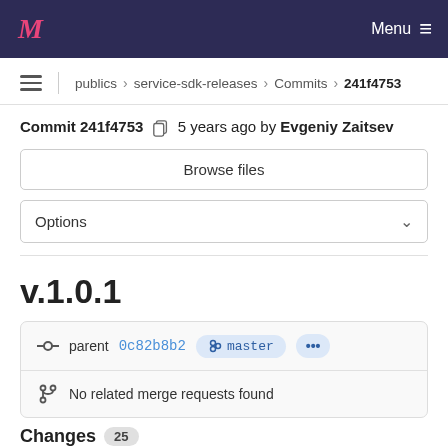M  Menu
publics > service-sdk-releases > Commits > 241f4753
Commit 241f4753  5 years ago by Evgeniy Zaitsev
Browse files
Options
v.1.0.1
parent 0c82b8b2  master  ...
No related merge requests found
Changes  25